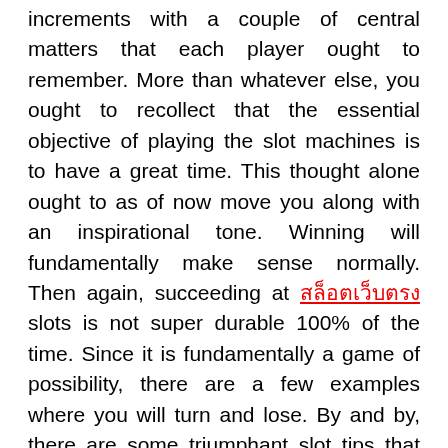increments with a couple of central matters that each player ought to remember. More than whatever else, you ought to recollect that the essential objective of playing the slot machines is to have a great time. This thought alone ought to as of now move you along with an inspirational tone. Winning will fundamentally make sense normally. Then again, succeeding at [สล็อตเว็บตรง] slots is not super durable 100% of the time. Since it is fundamentally a game of possibility, there are a few examples where you will turn and lose. By and by, there are some triumphant slot tips that are most certainly shrewd ways of playing the game. You, most importantly, need to restrict your spending plan. Knowing when to stop is likely the best method for abstaining from losing. In spite of the fact that everybody needs [scroll button], everybody ought to likewise figure out how to spend and when to stop.